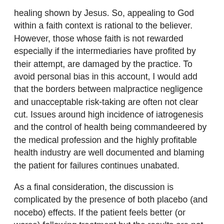healing shown by Jesus. So, appealing to God within a faith context is rational to the believer. However, those whose faith is not rewarded especially if the intermediaries have profited by their attempt, are damaged by the practice. To avoid personal bias in this account, I would add that the borders between malpractice negligence and unacceptable risk-taking are often not clear cut. Issues around high incidence of iatrogenesis and the control of health being commandeered by the medical profession and the highly profitable health industry are well documented and blaming the patient for failures continues unabated.
As a final consideration, the discussion is complicated by the presence of both placebo (and nocebo) effects. If the patient feels better (or worse) following treatment but the results are not reproducible in an appropriate therapeutic trial, what occurs is well described as “mind over matter”. If presented with full disclosure, this is not a problem but can be if it is used for undue profit or has potentially serious